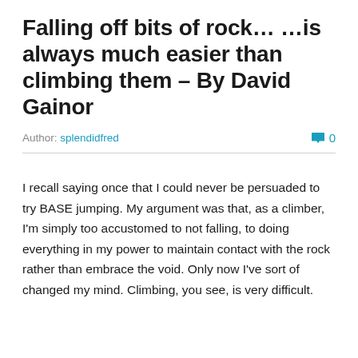Falling off bits of rock… …is always much easier than climbing them – By David Gainor
Author: splendidfred   0
I recall saying once that I could never be persuaded to try BASE jumping. My argument was that, as a climber, I'm simply too accustomed to not falling, to doing everything in my power to maintain contact with the rock rather than embrace the void. Only now I've sort of changed my mind. Climbing, you see, is very difficult.